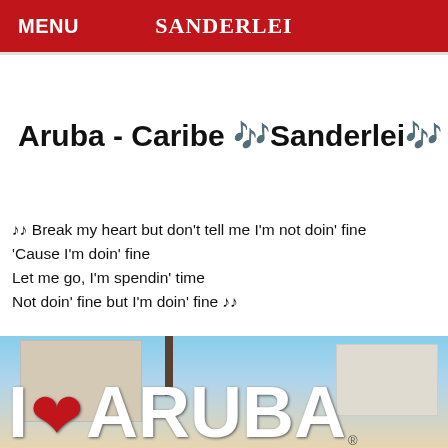MENU   SANDERLEI
Aruba - Caribe 🎵Sanderlei🎵
♪♪ Break my heart but don't tell me I'm not doin' fine
'Cause I'm doin' fine
Let me go, I'm spendin' time
Not doin' fine but I'm doin' fine ♪♪
[Figure (photo): Photo showing an 'I ❤ ARUBA' sign in large white letters with a red heart, in front of a hotel building and palm trees]